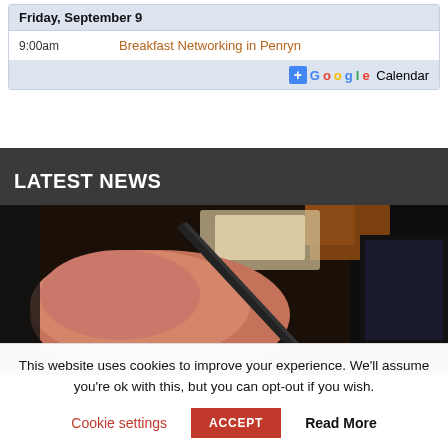| Day | Event |
| --- | --- |
| Friday, September 9 |  |
| 9:00am | Breakfast Networking in Penryn |
[Figure (screenshot): Google Calendar button with + icon and Google colored text]
LATEST NEWS
[Figure (photo): Close-up photo of a person's arm near computer/monitor equipment in a dark setting]
This website uses cookies to improve your experience. We'll assume you're ok with this, but you can opt-out if you wish.
Cookie settings   ACCEPT   Read More